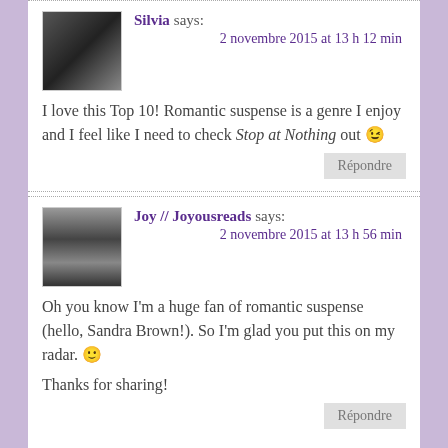Silvia says: 2 novembre 2015 at 13 h 12 min
I love this Top 10! Romantic suspense is a genre I enjoy and I feel like I need to check Stop at Nothing out 😉
Répondre
Joy // Joyousreads says: 2 novembre 2015 at 13 h 56 min
Oh you know I'm a huge fan of romantic suspense (hello, Sandra Brown!). So I'm glad you put this on my radar. 🙂

Thanks for sharing!
Répondre